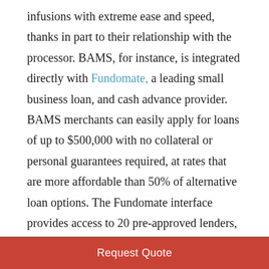infusions with extreme ease and speed, thanks in part to their relationship with the processor. BAMS, for instance, is integrated directly with Fundomate, a leading small business loan, and cash advance provider. BAMS merchants can easily apply for loans of up to $500,000 with no collateral or personal guarantees required, at rates that are more affordable than 50% of alternative loan options. The Fundomate interface provides access to 20 pre-approved lenders, ensuring there is a financing option available for every company's needs.

For more information on BAMS' Fundomate
Request Quote